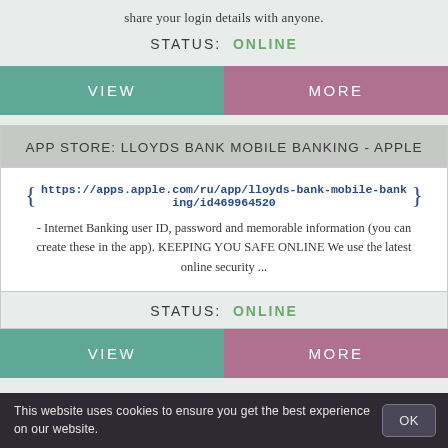share your login details with anyone.
STATUS: ONLINE
VIEW
MORE
APP STORE: LLOYDS BANK MOBILE BANKING - APPLE
https://apps.apple.com/ru/app/lloyds-bank-mobile-banking/id469964520
- Internet Banking user ID, password and memorable information (you can create these in the app). KEEPING YOU SAFE ONLINE We use the latest online security ...
STATUS: ONLINE
VIEW
MORE
This website uses cookies to ensure you get the best experience on our website.